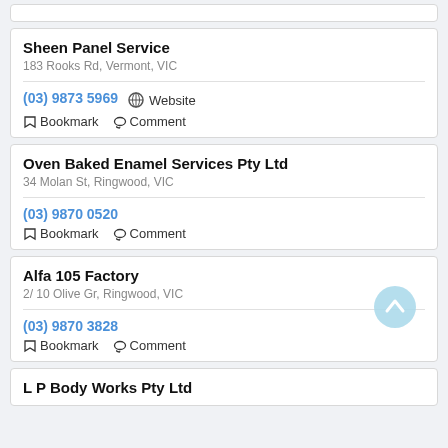Sheen Panel Service
183 Rooks Rd, Vermont, VIC
(03) 9873 5969
Website
Bookmark  Comment
Oven Baked Enamel Services Pty Ltd
34 Molan St, Ringwood, VIC
(03) 9870 0520
Bookmark  Comment
Alfa 105 Factory
2/ 10 Olive Gr, Ringwood, VIC
(03) 9870 3828
Bookmark  Comment
L P Body Works Pty Ltd